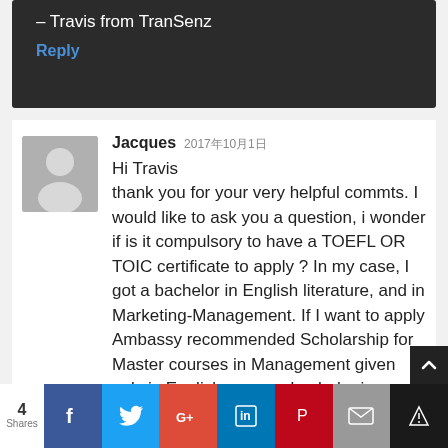Good Luck!
– Travis from TranSenz
Reply
Jacques 2017年10月1日
Hi Travis
thank you for your very helpful commts. I would like to ask you a question, i wonder if is it compulsory to have a TOEFL OR TOIC certificate to apply ? In my case, I got a bachelor in English literature, and in Marketing-Management. If I want to apply Ambassy recommended Scholarship for Master courses in Management given only in English, can my bachelor in English literature stands for a suffient proof of English proficiency or shou...
4 Shares  f  t  G+  in  P  ✉  ★